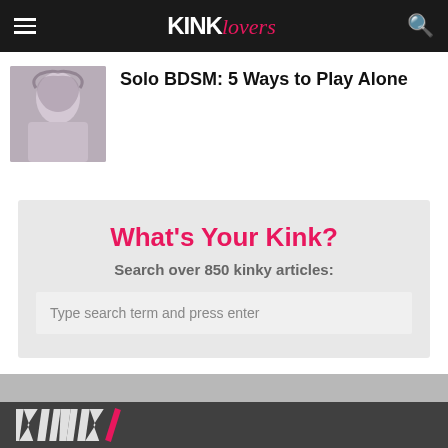KINK Lovers
Solo BDSM: 5 Ways to Play Alone
What's Your Kink?
Search over 850 kinky articles:
Type search term and press enter
[Figure (logo): KINKlovers logo in footer]
KINK